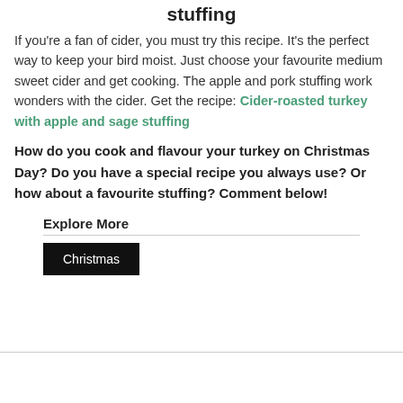stuffing
If you're a fan of cider, you must try this recipe. It's the perfect way to keep your bird moist. Just choose your favourite medium sweet cider and get cooking. The apple and pork stuffing work wonders with the cider. Get the recipe: Cider-roasted turkey with apple and sage stuffing
How do you cook and flavour your turkey on Christmas Day? Do you have a special recipe you always use? Or how about a favourite stuffing? Comment below!
Explore More
Christmas